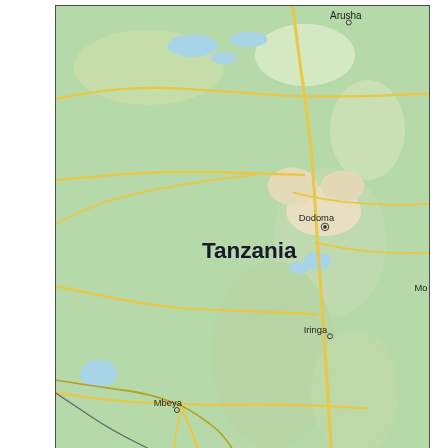[Figure (map): Map of Tanzania and surrounding region showing cities Arusha (top), Dodoma (center, marked as capital), Tanzania country label, Iringa, Mbeya, Songea, Mzuzu, and partial label 'Mo' at right edge. Lake Malawi (labeled 'Lake Malawi') visible at bottom left. Roads shown as yellow/orange lines. Green terrain with blue water bodies. Black border outline of map area.]